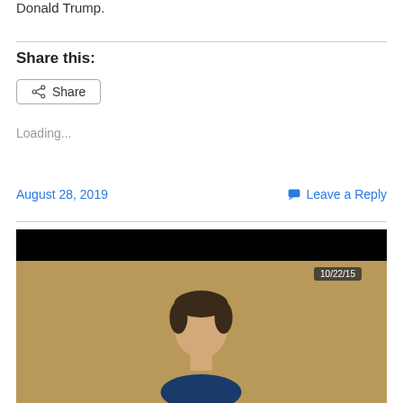Donald Trump.
Share this:
Share
Loading...
August 28, 2019
Leave a Reply
[Figure (photo): A video screenshot showing a person from the shoulders up against a tan/brown background, with a black bar at the top. A timestamp badge reading '10/22/15' appears in the upper right of the image area.]